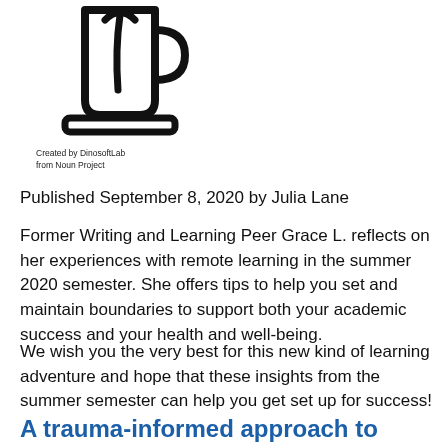[Figure (illustration): Black and white line icon of a mortar and pestle or graduation cap, created by DinosoftLab from Noun Project]
Created by DinosoftLab
from Noun Project
Published September 8, 2020 by Julia Lane
Former Writing and Learning Peer Grace L. reflects on her experiences with remote learning in the summer 2020 semester. She offers tips to help you set and maintain boundaries to support both your academic success and your health and well-being.
We wish you the very best for this new kind of learning adventure and hope that these insights from the summer semester can help you get set up for success!
A trauma-informed approach to